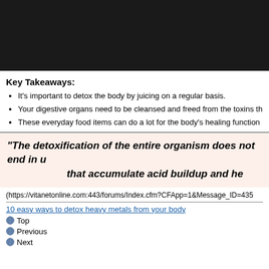[Figure (photo): Dark/black image placeholder at top of page]
Key Takeaways:
It's important to detox the body by juicing on a regular basis.
Your digestive organs need to be cleansed and freed from the toxins th
These everyday food items can do a lot for the body's healing function
“The detoxification of the entire organism does not end in u that accumulate acid buildup and he
(https://vitanetonline.com:443/forums/Index.cfm?CFApp=1&Message_ID=435
10 easy ways to detox heavy metals from your body
Top
Previous
Next